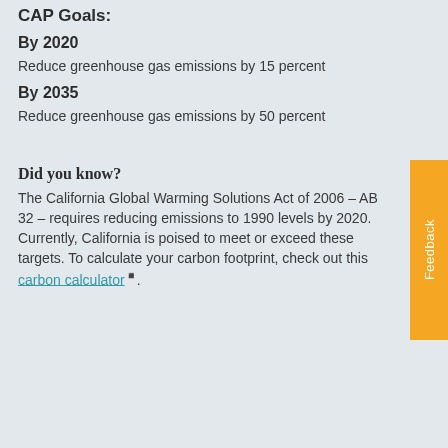CAP Goals:
By 2020
Reduce greenhouse gas emissions by 15 percent
By 2035
Reduce greenhouse gas emissions by 50 percent
Did you know?
The California Global Warming Solutions Act of 2006 – AB 32 – requires reducing emissions to 1990 levels by 2020. Currently, California is poised to meet or exceed these targets. To calculate your carbon footprint, check out this carbon calculator.